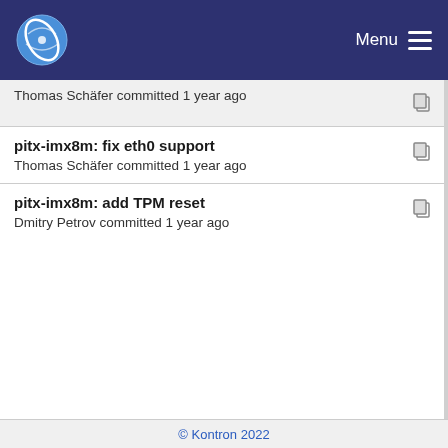Menu
Thomas Schäfer committed 1 year ago
pitx-imx8m: fix eth0 support
Thomas Schäfer committed 1 year ago
pitx-imx8m: add TPM reset
Dmitry Petrov committed 1 year ago
s1920: add USB hub reset
Thomas Schäfer committed 1 year ago
© Kontron 2022